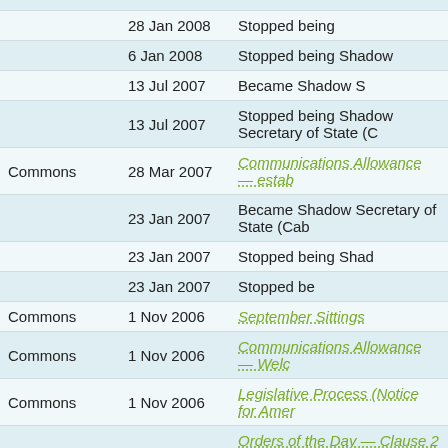| Chamber | Date | Description |
| --- | --- | --- |
|  | 28 Jan 2008 | Stopped being |
|  | 6 Jan 2008 | Stopped being Shadow… |
|  | 13 Jul 2007 | Became Shadow S… |
|  | 13 Jul 2007 | Stopped being Shadow Secretary of State (C… |
| Commons | 28 Mar 2007 | Communications Allowance — estab… |
|  | 23 Jan 2007 | Became Shadow Secretary of State (Cab… |
|  | 23 Jan 2007 | Stopped being Shad… |
|  | 23 Jan 2007 | Stopped be… |
| Commons | 1 Nov 2006 | September Sittings |
| Commons | 1 Nov 2006 | Communications Allowance — Welc… |
| Commons | 1 Nov 2006 | Legislative Process (Notice for Amer… |
| Commons | 12 Oct 2006 | Orders of the Day — Clause 2 — Re… noise and vibration from aircraft |
| Commons | 12 Oct 2006 | Orders of the Day — Clause 1 — Ae… emissions |
| Commons | 9 Oct 2006 | Orders of the Day — New Clause 37… failure to comply with traffic lights at… |
| Commons | 5 Jul 2006 | Deferred Divisions — adjournment (… |
| Commons |  | Legislative and Regulatory Reform… |